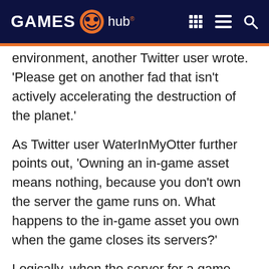GAMES hub
environment, another Twitter user wrote. 'Please get on another fad that isn’t actively accelerating the destruction of the planet.'
As Twitter user WaterInMyOtter further points out, ‘Owning an in-game asset means nothing, because you don’t own the server the game runs on. What happens to the in-game asset you own when the game closes its servers?’
Logically, when the server for a game eventually shuts, these digital goods will lose their worth entirely.